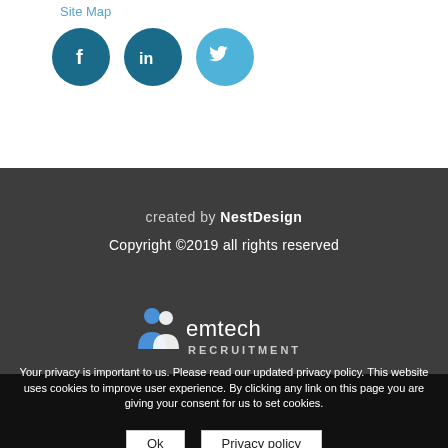Site Map
[Figure (logo): Three social media icons: Facebook (dark teal circle with 'f'), LinkedIn (dark teal circle with 'in'), Twitter (light blue circle with bird)]
created by NestDesign
Copyright ©2019 all rights reserved
[Figure (logo): Emtech Recruitment logo with two person silhouettes in blue and the text 'emtech RECRUITMENT']
Your privacy is important to us. Please read our updated privacy policy. This website uses cookies to improve user experience. By clicking any link on this page you are giving your consent for us to set cookies.
Ok   Privacy policy